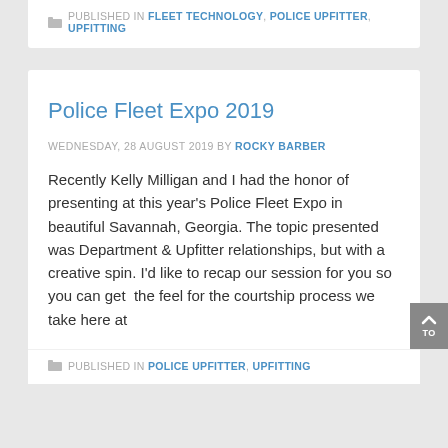PUBLISHED IN FLEET TECHNOLOGY, POLICE UPFITTER, UPFITTING
Police Fleet Expo 2019
WEDNESDAY, 28 AUGUST 2019 BY ROCKY BARBER
Recently Kelly Milligan and I had the honor of presenting at this year's Police Fleet Expo in beautiful Savannah, Georgia. The topic presented was Department & Upfitter relationships, but with a creative spin. I'd like to recap our session for you so you can get the feel for the courtship process we take here at
PUBLISHED IN POLICE UPFITTER, UPFITTING